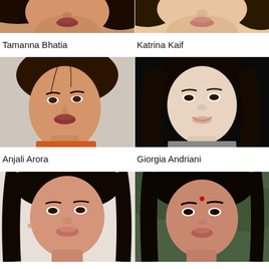[Figure (photo): Partial/cropped photo of Tamanna Bhatia, bottom portion of face visible]
[Figure (photo): Partial/cropped photo of Katrina Kaif, bottom portion of face visible]
Tamanna Bhatia
Katrina Kaif
[Figure (photo): Photo of Anjali Arora, young woman with brown hair pulled back, wearing orange top, light background]
[Figure (photo): Photo of Giorgia Andriani, woman with dark hair, smiling, dark background, wearing grey top]
Anjali Arora
Giorgia Andriani
[Figure (photo): Partial photo of Jhanvi Kapoor (bottom row left), dark hair, looking at camera, light background]
[Figure (photo): Partial photo of woman (bottom row right), dark hair, bindi, looking at camera, green background]